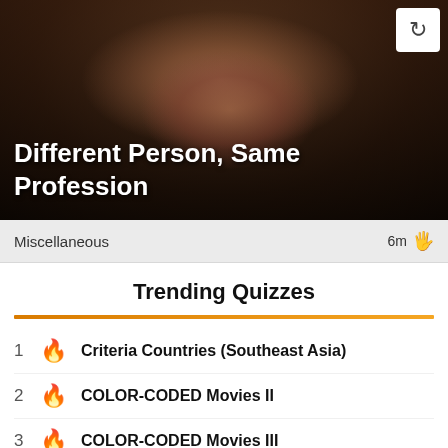[Figure (photo): Hero image of two people, likely wrestlers or boxers, with dark overlay and title text overlay]
Different Person, Same Profession
Miscellaneous   6m 🖐
Trending Quizzes
1 🔥 Criteria Countries (Southeast Asia)
2 🔥 COLOR-CODED Movies II
3 🔥 COLOR-CODED Movies III
4 🔥 15 in 15: Countries of Africa II